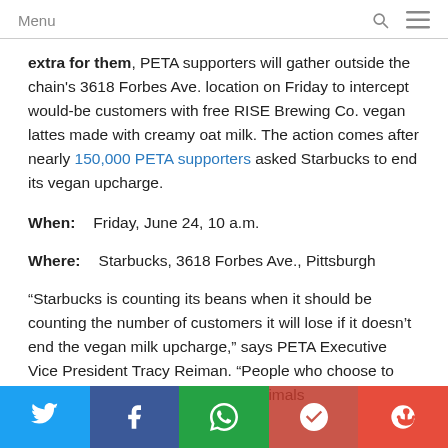Menu
extra for them, PETA supporters will gather outside the chain's 3618 Forbes Ave. location on Friday to intercept would-be customers with free RISE Brewing Co. vegan lattes made with creamy oat milk. The action comes after nearly 150,000 PETA supporters asked Starbucks to end its vegan upcharge.
When:    Friday, June 24, 10 a.m.
Where:    Starbucks, 3618 Forbes Ave., Pittsburgh
“Starbucks is counting its beans when it should be counting the number of customers it will lose if it doesn’t end the vegan milk upcharge,” says PETA Executive Vice President Tracy Reiman. “People who choose to drink responsibly for the sake of animals